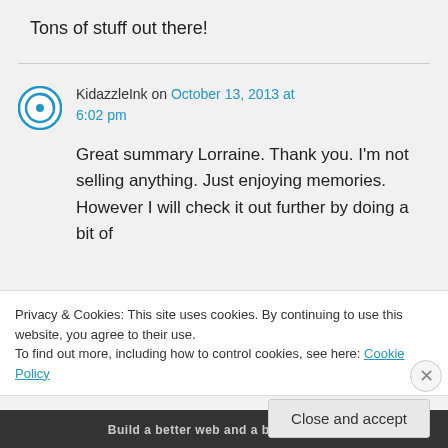Tons of stuff out there!
KidazzleInk on October 13, 2013 at 6:02 pm
Great summary Lorraine. Thank you. I’m not selling anything. Just enjoying memories. However I will check it out further by doing a bit of
Privacy & Cookies: This site uses cookies. By continuing to use this website, you agree to their use.
To find out more, including how to control cookies, see here: Cookie Policy
Close and accept
Build a better web and a better world.